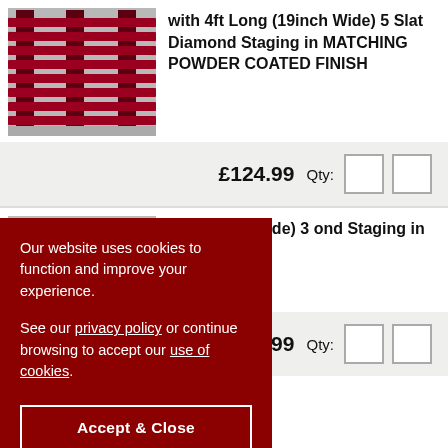[Figure (photo): Red/maroon powder-coated diamond slat staging/steps product photo]
with 4ft Long (19inch Wide) 5 Slat Diamond Staging in MATCHING POWDER COATED FINISH
£124.99  Qty:
[Figure (photo): Second product photo partially visible]
ng (11inch Wide) 3 ond Staging in
.99  Qty:
Our website uses cookies to function and improve your experience.

See our privacy policy or continue browsing to accept our use of cookies.
Accept & Close